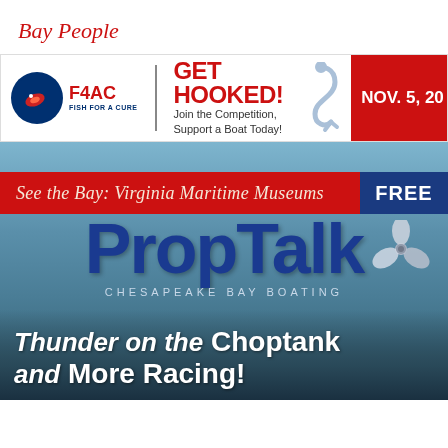Bay People
[Figure (infographic): F4AC Fish for a Cure banner ad. GET HOOKED! Join the Competition, Support a Boat Today! NOV. 5, 20[xx]]
[Figure (illustration): PropTalk magazine cover. Red stripe: 'See the Bay: Virginia Maritime Museums' with FREE badge. PropTalk Chesapeake Bay Boating logo with propeller. Tagline: Thunder on the Choptank and More Racing!]